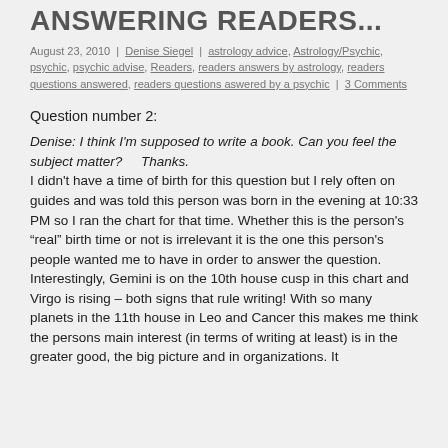ANSWERING READERS...
August 23, 2010 | Denise Siegel | astrology advice, Astrology/Psychic, psychic, psychic advise, Readers, readers answers by astrology, readers questions answered, readers questions aswered by a psychic | 3 Comments
Question number 2:
Denise: I think I'm supposed to write a book. Can you feel the subject matter?    Thanks.
I didn't have a time of birth for this question but I rely often on guides and was told this person was born in the evening at 10:33 PM so I ran the chart for that time. Whether this is the person's “real” birth time or not is irrelevant it is the one this person's people wanted me to have in order to answer the question.
Interestingly, Gemini is on the 10th house cusp in this chart and Virgo is rising – both signs that rule writing! With so many planets in the 11th house in Leo and Cancer this makes me think the persons main interest (in terms of writing at least) is in the greater good, the big picture and in organizations. It